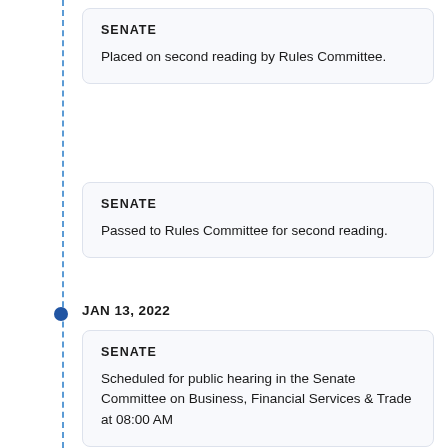SENATE
Placed on second reading by Rules Committee.
SENATE
Passed to Rules Committee for second reading.
JAN 13, 2022
SENATE
Scheduled for public hearing in the Senate Committee on Business, Financial Services & Trade at 08:00 AM